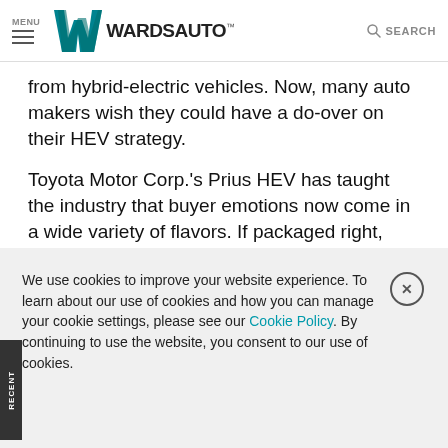MENU | WardsAuto | SEARCH
from hybrid-electric vehicles. Now, many auto makers wish they could have a do-over on their HEV strategy.
Toyota Motor Corp.'s Prius HEV has taught the industry that buyer emotions now come in a wide variety of flavors. If packaged right, efficiency and environmental friendliness can be as compelling to some consumers as performance and sexy styling.
All successful vehicles have an expressive “gotta-have”
We use cookies to improve your website experience. To learn about our use of cookies and how you can manage your cookie settings, please see our Cookie Policy. By continuing to use the website, you consent to our use of cookies.